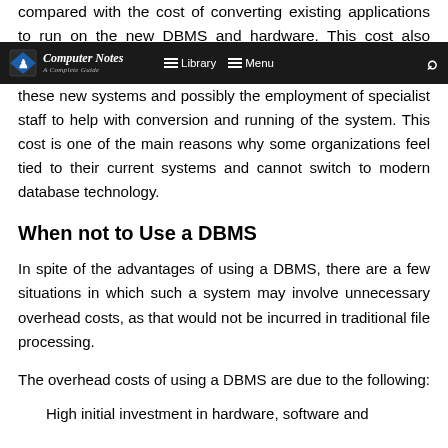compared with the cost of converting existing applications to run on the new DBMS and hardware. This cost also includes the cost of training staff to use these new systems and possibly the employment of specialist staff to help with conversion and running of the system. This cost is one of the main reasons why some organizations feel tied to their current systems and cannot switch to modern database technology.
Computer Notes — A Complete Guide | Library | Menu
When not to Use a DBMS
In spite of the advantages of using a DBMS, there are a few situations in which such a system may involve unnecessary overhead costs, as that would not be incurred in traditional file processing.
The overhead costs of using a DBMS are due to the following:
High initial investment in hardware, software and